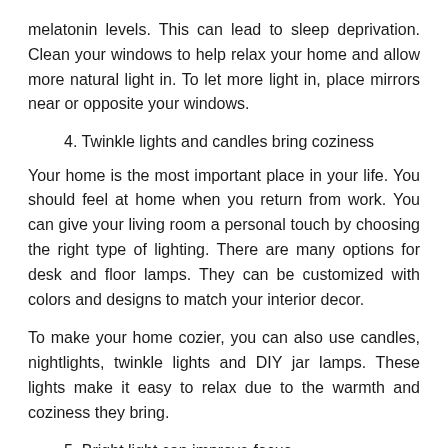melatonin levels. This can lead to sleep deprivation. Clean your windows to help relax your home and allow more natural light in. To let more light in, place mirrors near or opposite your windows.
4. Twinkle lights and candles bring coziness
Your home is the most important place in your life. You should feel at home when you return from work. You can give your living room a personal touch by choosing the right type of lighting. There are many options for desk and floor lamps. They can be customized with colors and designs to match your interior decor.
To make your home cozier, you can also use candles, nightlights, twinkle lights and DIY jar lamps. These lights make it easy to relax due to the warmth and coziness they bring.
5. Bright light can improve focus